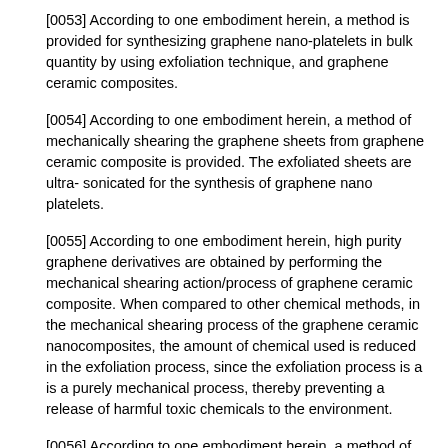[0053] According to one embodiment herein, a method is provided for synthesizing graphene nano-platelets in bulk quantity by using exfoliation technique, and graphene ceramic composites.
[0054] According to one embodiment herein, a method of mechanically shearing the graphene sheets from graphene ceramic composite is provided. The exfoliated sheets are ultra- sonicated for the synthesis of graphene nano platelets.
[0055] According to one embodiment herein, high purity graphene derivatives are obtained by performing the mechanical shearing action/process of graphene ceramic composite. When compared to other chemical methods, in the mechanical shearing process of the graphene ceramic nanocomposites, the amount of chemical used is reduced in the exfoliation process, since the exfoliation process is a is a purely mechanical process, thereby preventing a release of harmful toxic chemicals to the environment.
[0056] According to one embodiment herein, a method of graphene ceramic composite synthesis is provided. According to one embodiment herein, the ceramic